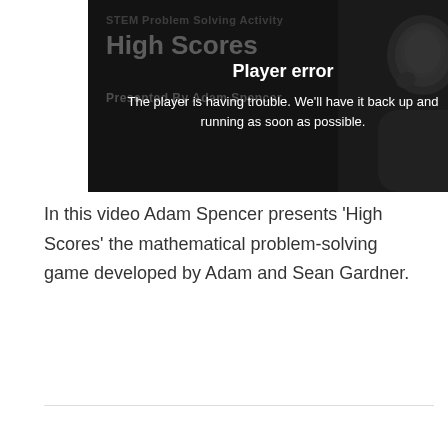[Figure (screenshot): Video player showing error message over a dark background with text 'STEM Problem Solving Activity', 'High Scores', 'Presented By Adam Spencer', with overlay reading 'Player error' and 'The player is having trouble. We'll have it back up and running as soon as possible.' A person's face is visible on the right side.]
In this video Adam Spencer presents 'High Scores' the mathematical problem-solving game developed by Adam and Sean Gardner.
[Figure (screenshot): Second video player with gray top bar (close X button), iTeachSTEM logo, 'STEM Problem Solving Activity' label, and 'Player error' overlay at the bottom. A person's face visible on right side.]